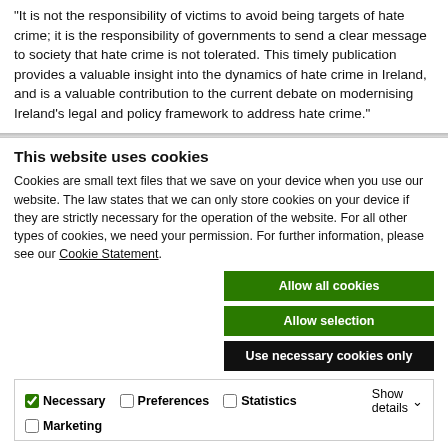"It is not the responsibility of victims to avoid being targets of hate crime; it is the responsibility of governments to send a clear message to society that hate crime is not tolerated. This timely publication provides a valuable insight into the dynamics of hate crime in Ireland, and is a valuable contribution to the current debate on modernising Ireland's legal and policy framework to address hate crime."
This website uses cookies
Cookies are small text files that we save on your device when you use our website. The law states that we can only store cookies on your device if they are strictly necessary for the operation of the website. For all other types of cookies, we need your permission. For further information, please see our Cookie Statement.
Allow all cookies
Allow selection
Use necessary cookies only
Necessary  Preferences  Statistics  Marketing  Show details